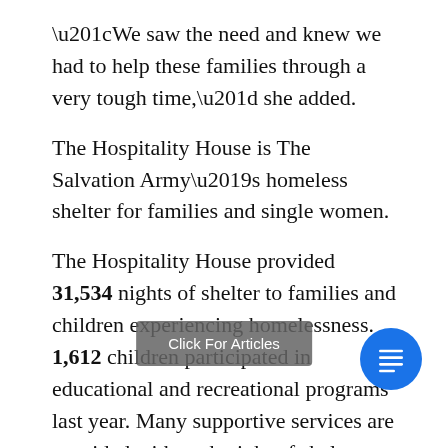“We saw the need and knew we had to help these families through a very tough time,” she added.
The Hospitality House is The Salvation Army’s homeless shelter for families and single women.
The Hospitality House provided 31,534 nights of shelter to families and children experiencing homelessness. 1,612 children participated in educational and recreational programs last year. Many supportive services are provided with each night of shelter including meals, laundry, hot showers, tutoring and case management.
The people served at The Salvation Army shelter